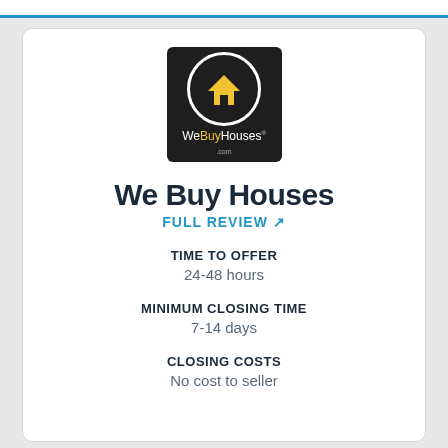[Figure (logo): WeBuyHouses.com logo: dark square background with a white circle containing a yellow house icon, and 'WeBuyHouses.com' text below in white and yellow]
We Buy Houses
FULL REVIEW ↗
TIME TO OFFER
24-48 hours
MINIMUM CLOSING TIME
7-14 days
CLOSING COSTS
No cost to seller